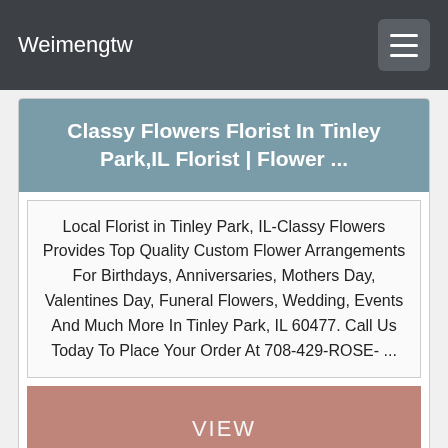Weimengtw
Classy Flowers Florist In Tinley Park,IL Florist | Flower ...
Local Florist in Tinley Park, IL-Classy Flowers Provides Top Quality Custom Flower Arrangements For Birthdays, Anniversaries, Mothers Day, Valentines Day, Funeral Flowers, Wedding, Events And Much More In Tinley Park, IL 60477. Call Us Today To Place Your Order At 708-429-ROSE- ...
VIEW
St. Louis Flower Delivery | Walter Knoll